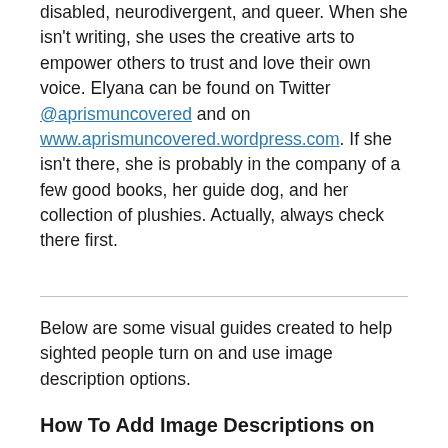disabled, neurodivergent, and queer. When she isn't writing, she uses the creative arts to empower others to trust and love their own voice. Elyana can be found on Twitter @aprismuncovered and on www.aprismuncovered.wordpress.com. If she isn't there, she is probably in the company of a few good books, her guide dog, and her collection of plushies. Actually, always check there first.
Below are some visual guides created to help sighted people turn on and use image description options.
How To Add Image Descriptions on